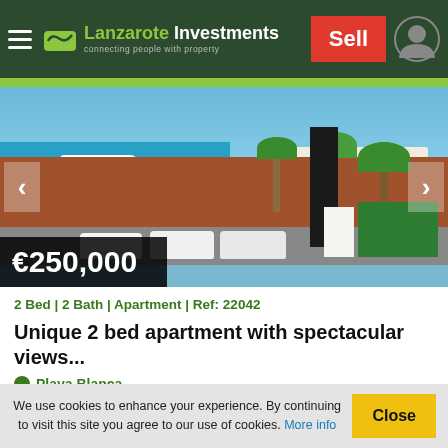Lanzarote Investments — connecting people with property | Sell
[Figure (photo): Outdoor photo showing a waterfront promenade in Lanzarote with parked white cars, red volcanic soil, palm trees, a marina with boats and turquoise sea in background, and white buildings. Price tag overlay shows €250,000.]
2 Bed | 2 Bath | Apartment | Ref: 22042
Unique 2 bed apartment with spectacular views...
Playa Blanca
We use cookies to enhance your experience. By continuing to visit this site you agree to our use of cookies. More info